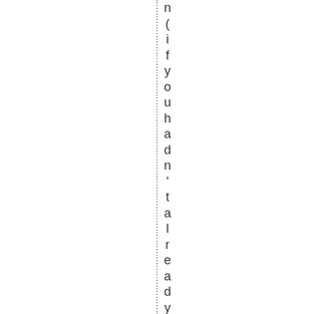n(if you hadn't already done so), it